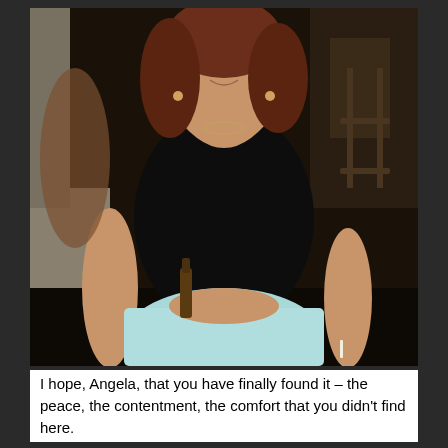[Figure (photo): A young woman with reddish-brown hair wearing a black sleeveless top and a light blue skirt, standing at what appears to be an outdoor gathering or bar area. She is smiling and holding a cigarette. Other people and furniture are visible in the background.]
I hope, Angela, that you have finally found it – the peace, the contentment, the comfort that you didn't find here.